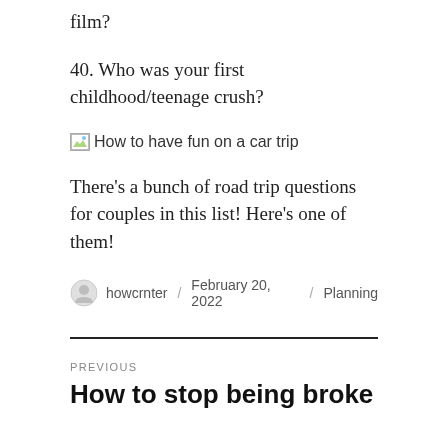film?
40. Who was your first childhood/teenage crush?
[Figure (photo): Broken image placeholder icon followed by text: How to have fun on a car trip]
There's a bunch of road trip questions for couples in this list! Here's one of them!
howcrnter / February 20, 2022 / Planning
PREVIOUS
How to stop being broke